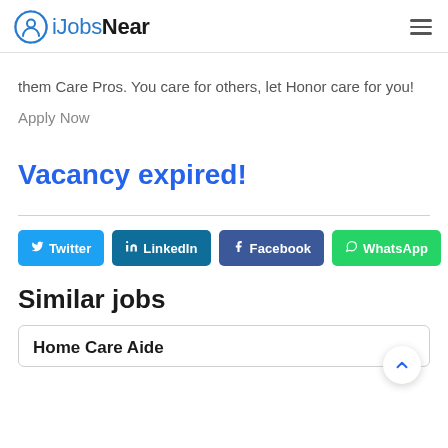iJobsNear
them Care Pros. You care for others, let Honor care for you!
Apply Now
Vacancy expired!
Twitter LinkedIn Facebook WhatsApp
Similar jobs
Home Care Aide